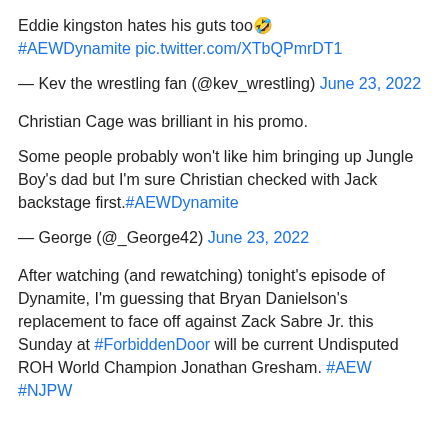Eddie kingston hates his guts too🤣 #AEWDynamite pic.twitter.com/XTbQPmrDT1
— Kev the wrestling fan (@kev_wrestling) June 23, 2022
Christian Cage was brilliant in his promo.
Some people probably won't like him bringing up Jungle Boy's dad but I'm sure Christian checked with Jack backstage first.#AEWDynamite
— George (@_George42) June 23, 2022
After watching (and rewatching) tonight's episode of Dynamite, I'm guessing that Bryan Danielson's replacement to face off against Zack Sabre Jr. this Sunday at #ForbiddenDoor will be current Undisputed ROH World Champion Jonathan Gresham. #AEW #NJPW